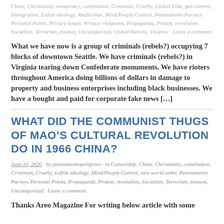China, Christianity, conspiracy, constitution, Criminals, Cruelty, Global Elite, gun control, Immigration, Leftist ideology, Media bias, Mind/People Control, Pensiamento Purveys Personal Points, Privacy Issues, Privacy violations, Propaganda, Protest, revolution, Socialism, Terrorism, treason, Uncategorized, United Nations, Violence · Leave a comment
What we have now is a group of criminals (rebels?) occupying 7 blocks of downtown Seattle. We have criminals (rebels?) in Virginia tearing down Confederate monuments. We have rioters throughout America doing billions of dollars in damage to property and business enterprises including black businesses. We have a bought and paid for corporate fake news […]
WHAT DID THE COMMUNIST THUGS OF MAO'S CULTURAL REVOLUTION DO IN 1966 CHINA?
June 10, 2020 · by pensiamentopeligroso · in Censorship, China, Christianity, constitution, Criminals, Cruelty, Leftist ideology, Mind/People Control, new world order, Pensiamento Purveys Personal Points, Propaganda, Protest, revolution, Socialism, Terrorism, treason, Uncategorized · Leave a comment
Thanks Areo Magazine For writing below article with some